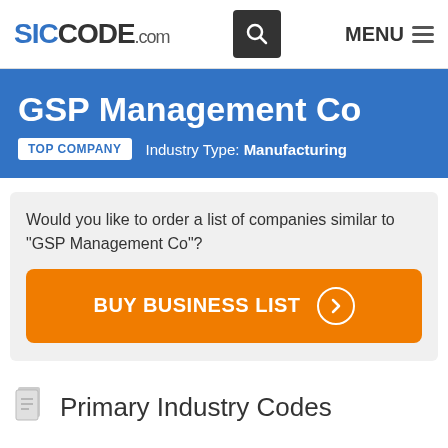SICCODE.com — MENU
GSP Management Co
TOP COMPANY   Industry Type: Manufacturing
Would you like to order a list of companies similar to "GSP Management Co"?
BUY BUSINESS LIST
Primary Industry Codes